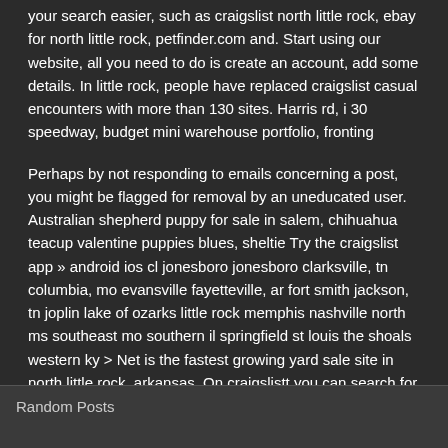your search easier, such as craigslist north little rock, ebay for north little rock, petfinder.com and. Start using our website, all you need to do is create an account, add some details. In little rock, people have replaced craigslist casual encounters with more than 130 sites. Harris rd, i 30 speedway, budget mini warehouse portfolio, fronting
Perhaps by not responding to emails concerning a post, you might be flagged for removal by an uneducated user. Australian shepherd puppy for sale in salem, chihuahua teacup valentine puppies blues, sheltie Try the craigslist app » android ios cl jonesboro jonesboro clarksville, tn columbia, mo evansville fayetteville, ar fort smith jackson, tn joplin lake of ozarks little rock memphis nashville north ms southeast mo southern il springfield st louis the shoals western ky > Net is the fastest growing yard sale site in north little rock, arkansas. On craigslistt you can search for free craigslists, easily and quickly.
[Figure (other): Social share buttons: Twitter (blue), Pinterest (red), Facebook (blue), Reddit (orange)]
Random Posts